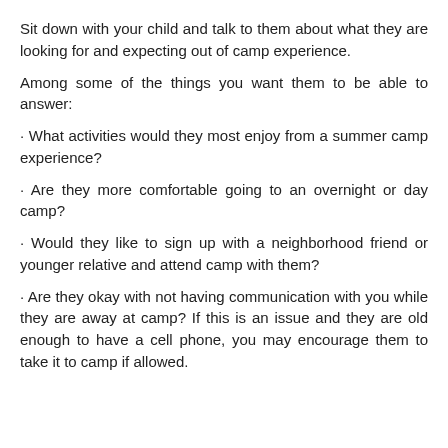Sit down with your child and talk to them about what they are looking for and expecting out of camp experience.
Among some of the things you want them to be able to answer:
· What activities would they most enjoy from a summer camp experience?
· Are they more comfortable going to an overnight or day camp?
· Would they like to sign up with a neighborhood friend or younger relative and attend camp with them?
· Are they okay with not having communication with you while they are away at camp? If this is an issue and they are old enough to have a cell phone, you may encourage them to take it to camp if allowed.